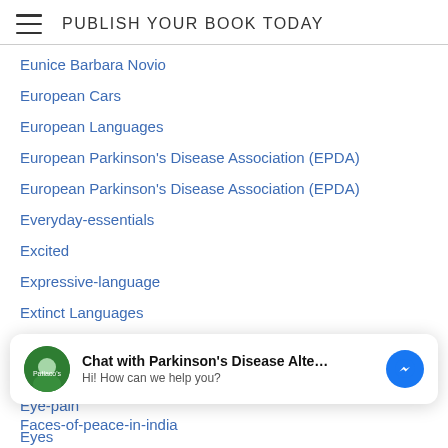PUBLISH YOUR BOOK TODAY
Eunice Barbara Novio
European Cars
European Languages
European Parkinson's Disease Association (EPDA)
European Parkinson's Disease Association (EPDA)
Everyday-essentials
Excited
Expressive-language
Extinct Languages
Extracellular-matrix
Eye Exercises
Eye-pain
Eyes
Eyesight
Chat with Parkinson's Disease Alte...
Hi! How can we help you?
Faces-of-peace-in-india